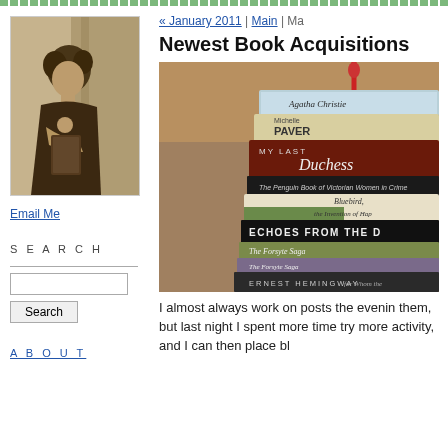[Figure (photo): Vintage sepia photograph of a woman leaning on a book, with curly hair and dark clothing, posed against a tree]
Email Me
SEARCH
ABOUT
« January 2011 | Main | Ma...
Newest Book Acquisitions
[Figure (photo): Stack of books including titles by Agatha Christie, Michelle Paver, My Last Duchess, The Penguin Book of Victorian Women in Crime, Bluebird the Invention of Happiness, Echoes from the Dead, The Forsyte Saga, and Ernest Hemingway For Whom the Bell Tolls]
I almost always work on posts the evenin them, but last night I spent more time try more activity, and I can then place bl...